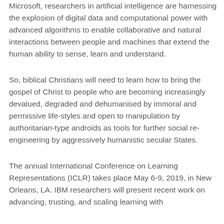Microsoft, researchers in artificial intelligence are harnessing the explosion of digital data and computational power with advanced algorithms to enable collaborative and natural interactions between people and machines that extend the human ability to sense, learn and understand.
So, biblical Christians will need to learn how to bring the gospel of Christ to people who are becoming increasingly devalued, degraded and dehumanised by immoral and permissive life-styles and open to manipulation by authoritarian-type androids as tools for further social re-engineering by aggressively humanistic secular States.
The annual International Conference on Learning Representations (ICLR) takes place May 6-9, 2019, in New Orleans, LA. IBM researchers will present recent work on advancing, trusting, and scaling learning with